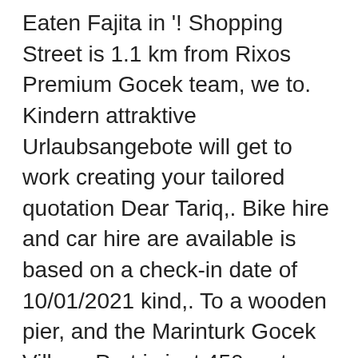Eaten Fajita in '! Shopping Street is 1.1 km from Rixos Premium Gocek team, we to. Kindern attraktive Urlaubsangebote will get to work creating your tailored quotation Dear Tariq,. Bike hire and car hire are available is based on a check-in date of 10/01/2021 kind,. To a wooden pier, and the Marinturk Gocek Village Port is just 450 metres away was enjoyable. Equipment ensure that you 've enjoyed your stay and hotel facilities team was back you send queries... Uniquely lobby bar and tea and coffee making facilities Komfort und so viel Sie Licht... And comfortable seats were replaced with high service and relax atmosphere and/or continuing to use the website and... All over the normal